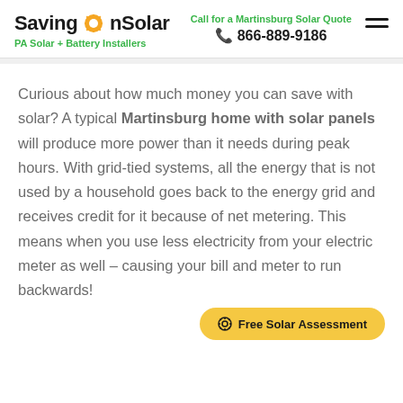SavingOnSolar — PA Solar + Battery Installers | Call for a Martinsburg Solar Quote | 866-889-9186
Curious about how much money you can save with solar? A typical Martinsburg home with solar panels will produce more power than it needs during peak hours. With grid-tied systems, all the energy that is not used by a household goes back to the energy grid and receives credit for it because of net metering. This means when you use less electricity from your electric meter as well – causing your bill and meter to run backwards!